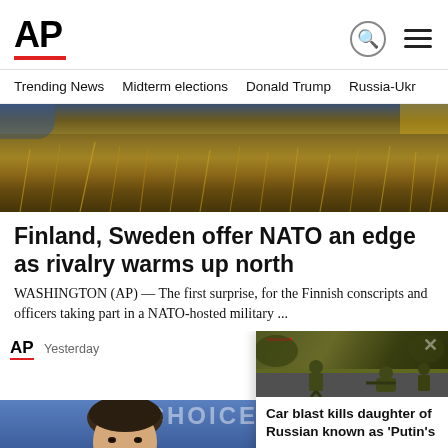AP
Trending News  Midterm elections  Donald Trump  Russia-Ukr
[Figure (photo): Outdoor photo showing dry grass and terrain, possibly a military or nature setting]
Finland, Sweden offer NATO an edge as rivalry warms up north
WASHINGTON (AP) — The first surprise, for the Finnish conscripts and officers taking part in a NATO-hosted military ...
[Figure (photo): AP logo with 'Yesterday' label and a person's photo below with accessibility icon]
[Figure (photo): Car blast popup card showing soldiers on a road with headline: Car blast kills daughter of Russian known as 'Putin's ...']